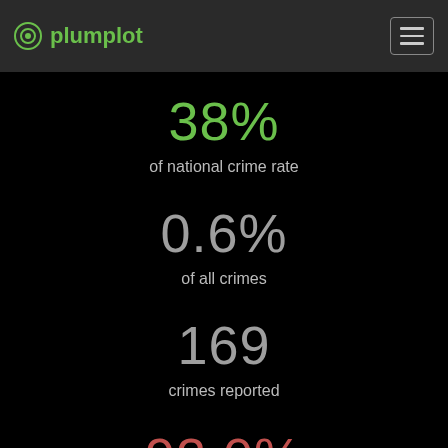plumplot
38%
of national crime rate
0.6%
of all crimes
169
crimes reported
92.0%
annual change